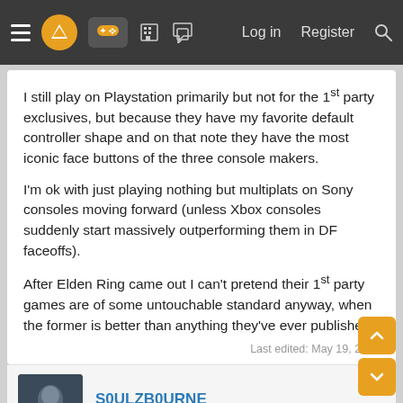Navigation bar with menu, logo, icons, Log in, Register, Search
I still play on Playstation primarily but not for the 1st party exclusives, but because they have my favorite default controller shape and on that note they have the most iconic face buttons of the three console makers.
I'm ok with just playing nothing but multiplats on Sony consoles moving forward (unless Xbox consoles suddenly start massively outperforming them in DF faceoffs).
After Elden Ring came out I can't pretend their 1st party games are of some untouchable standard anyway, when the former is better than anything they've ever published.
Last edited: May 19, 2022
S0ULZB0URNE
Member